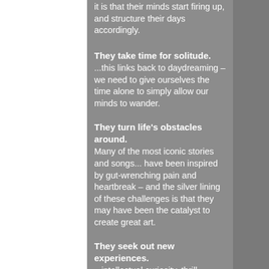it is that their minds start firing up, and structure their days accordingly.
They take time for solitude.
...this links back to daydreaming – we need to give ourselves the time alone to simply allow our minds to wander.
They turn life's obstacles around.
Many of the most iconic stories and songs... have been inspired by gut-wrenching pain and heartbreak – and the silver lining of these challenges is that they may have been the catalyst to create great art.
They seek out new experiences.
...intellectual curiosity, thrill seeking, openness to your emotions,